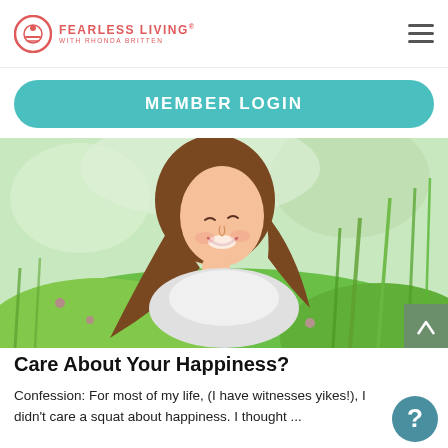FEARLESS LIVING with Rhonda Britten
MEMBER LOGIN
[Figure (photo): Young woman with brown hair smiling and looking up joyfully in a field of green plants and pink flowers]
Care About Your Happiness?
Confession: For most of my life, (I have witnesses yikes!), I didn't care a squat about happiness. I thought ...